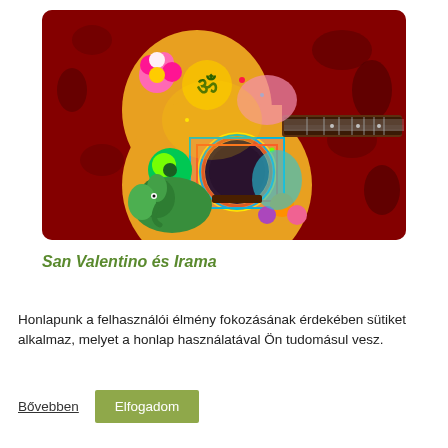[Figure (photo): A colorfully painted acoustic guitar with psychedelic art including an Om symbol, pink flower, elephant, mandala, and various bright colors, lying on a red patterned textile background.]
San Valentino és Irama
Honlapunk a felhasználói élmény fokozásának érdekében sütiket alkalmaz, melyet a honlap használatával Ön tudomásul vesz.
Bővebben
Elfogadom